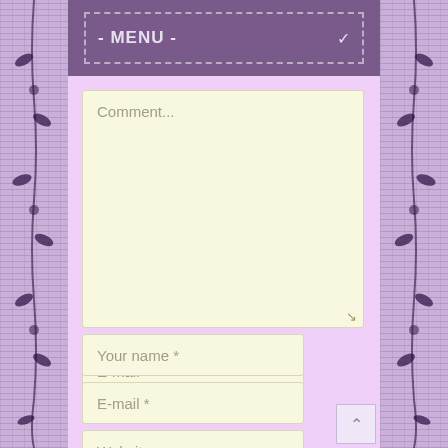- MENU -
Comment...
Your name *
E-mail *
Website
Post Comment